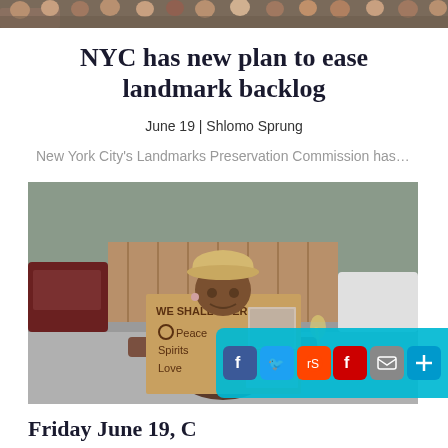[Figure (photo): Strip of group photos of people at the top of the page]
NYC has new plan to ease landmark backlog
June 19 | Shlomo Sprung
New York City's Landmarks Preservation Commission has...
[Figure (photo): Woman wearing a cowboy hat holding a cardboard sign reading 'WE SHALL OVERCOME Peace Spirits Love' with photos attached, standing outdoors]
Friday June 19, C...